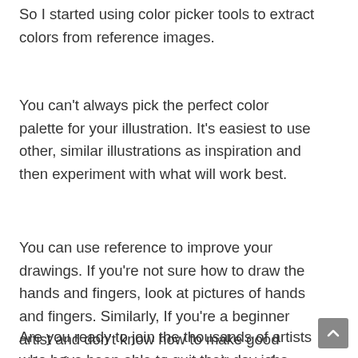So I started using color picker tools to extract colors from reference images.
You can't always pick the perfect color palette for your illustration. It's easiest to use other, similar illustrations as inspiration and then experiment with what will work best.
You can use reference to improve your drawings. If you're not sure how to draw the hands and fingers, look at pictures of hands and fingers. Similarly, If you're a beginner artist and don't know how to make good colors for a sunset, get some photos of sunset.
Are you ready to join the thousands of artists who have been able to quit their day jobs and make a